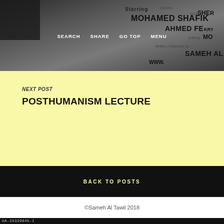[Figure (photo): Black and white film credits photo showing names: MOHAMED SHAFIK, AHMED FEKRY, SAMEH AL, Camera, DOP, SHER, Written/Directed by, Editing, WWW]
SEARCH   SHARE   GO TOP   MENU
NEXT POST
POSTHUMANISM LECTURE
BACK TO POSTS
©Sameh Al Tawil 2018
UA-28329045-1